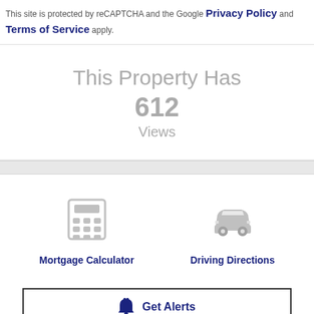This site is protected by reCAPTCHA and the Google Privacy Policy and Terms of Service apply.
This Property Has 612 Views
[Figure (illustration): Calculator icon (gray) above 'Mortgage Calculator' link]
[Figure (illustration): Car/driving icon (gray) above 'Driving Directions' link]
Get Alerts